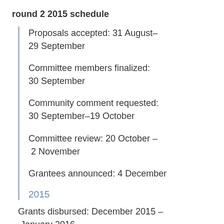round 2 2015 schedule
Proposals accepted: 31 August–29 September
Committee members finalized: 30 September
Community comment requested: 30 September–19 October
Committee review: 20 October – 2 November
Grantees announced: 4 December
2015
Grants disbursed: December 2015 – January 2016